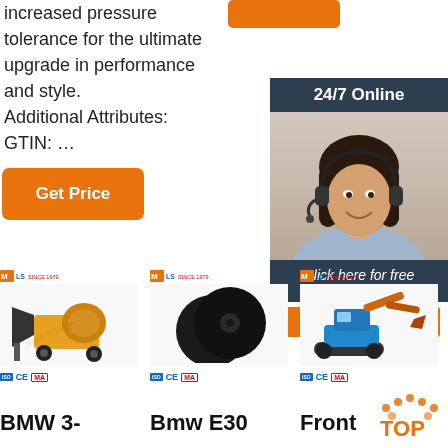increased pressure tolerance for the ultimate upgrade in performance and style. Additional Attributes: GTIN: …
[Figure (other): Orange button placeholder top area]
[Figure (other): Get Price orange button]
[Figure (other): 24/7 Online chat sidebar with woman wearing headset, 'Click here for free chat!' text and QUOTATION button]
[Figure (photo): Yellow concrete mixer machine product image with MLS since 1979 logo and CE MA certification marks]
[Figure (photo): Bmw E30 black disc parts product image with MLS since 1979 logo and CE MA certification marks]
[Figure (photo): Front loader mini excavator product image with MLS since 1979 logo and CE MA certification marks]
BMW 3-
Bmw E30
Front